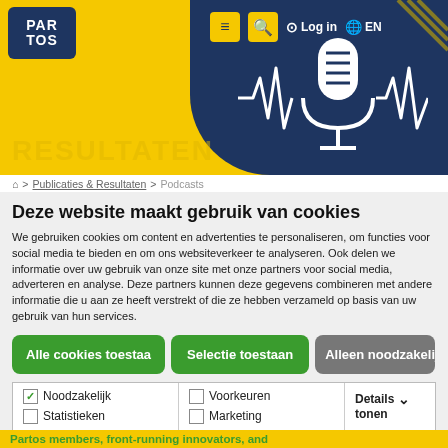[Figure (screenshot): Website header with yellow background, dark blue navigation bar, logo top-left, and microphone illustration on the right side]
⌂ > Publicaties & Resultaten > Podcasts
Deze website maakt gebruik van cookies
We gebruiken cookies om content en advertenties te personaliseren, om functies voor social media te bieden en om ons websiteverkeer te analyseren. Ook delen we informatie over uw gebruik van onze site met onze partners voor social media, adverteren en analyse. Deze partners kunnen deze gegevens combineren met andere informatie die u aan ze heeft verstrekt of die ze hebben verzameld op basis van uw gebruik van hun services.
Alle cookies toestaan | Selectie toestaan | Alleen noodzakelijke c
| ✓ Noodzakelijk | ☐ Voorkeuren | Details tonen ∨ |
| ☐ Statistieken | ☐ Marketing |  |